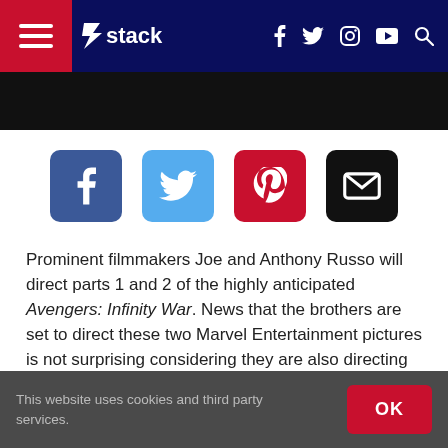stack — navigation bar with hamburger menu, logo, social icons (f, twitter, instagram, youtube, search)
[Figure (screenshot): Dark black advertisement banner below navigation bar]
[Figure (infographic): Social share buttons row: Facebook (blue), Twitter (light blue), Pinterest (red), Email (black)]
Prominent filmmakers Joe and Anthony Russo will direct parts 1 and 2 of the highly anticipated Avengers: Infinity War. News that the brothers are set to direct these two Marvel Entertainment pictures is not surprising considering they are also directing the studio's Captain America: Civil War, which, like the films in the Avengers franchise, is noted for the large number of superheroes in
This website uses cookies and third party services.  OK